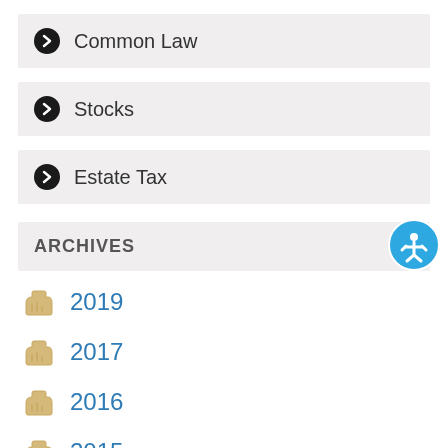Common Law
Stocks
Estate Tax
ARCHIVES
2019
2017
2016
2015